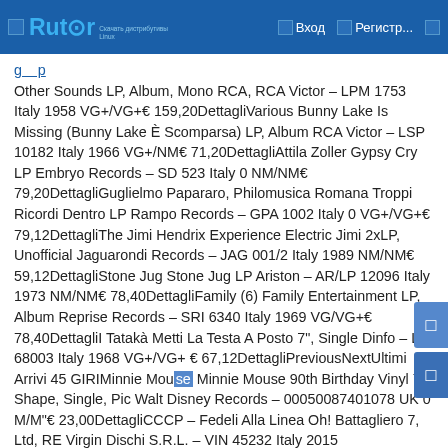Rutor — Вход Регистр...
Other Sounds LP, Album, Mono RCA, RCA Victor – LPM 1753 Italy 1958 VG+/VG+€ 159,20DettagliVarious Bunny Lake Is Missing (Bunny Lake È Scomparsa) LP, Album RCA Victor – LSP 10182 Italy 1966 VG+/NM€ 71,20DettagliAttila Zoller Gypsy Cry LP Embryo Records – SD 523 Italy 0 NM/NM€ 79,20DettagliGuglielmo Papararo, Philomusica Romana Troppi Ricordi Dentro LP Rampo Records – GPA 1002 Italy 0 VG+/VG+€ 79,12DettagliThe Jimi Hendrix Experience Electric Jimi 2xLP, Unofficial Jaguarondi Records – JAG 001/2 Italy 1989 NM/NM€ 59,12DettagliStone Jug Stone Jug LP Ariston – AR/LP 12096 Italy 1973 NM/NM€ 78,40DettagliFamily (6) Family Entertainment LP, Album Reprise Records – SRI 6340 Italy 1969 VG/VG+€ 78,40DettagliI Tatakà Metti La Testa A Posto 7", Single Dinfo – LC 68003 Italy 1968 VG+/VG+ € 67,12DettagliPreviousNextUltimi Arrivi 45 GIRIMinnie Mouse Minnie Mouse 90th Birthday Vinyl 7, Shape, Single, Pic Walt Disney Records – 00050087401078 UK 0 M/M"€ 23,00DettagliCCCP – Fedeli Alla Linea Oh! Battagliero 7, Ltd, RE Virgin Dischi S.R.L. – VIN 45232 Italy 2015